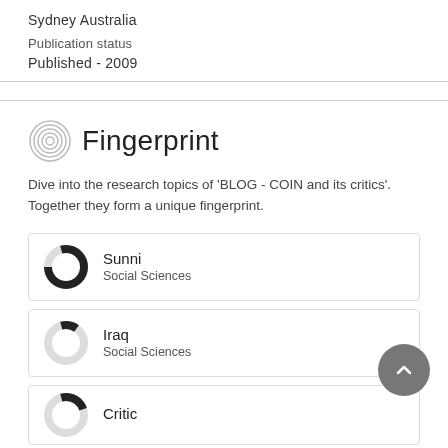Sydney Australia
Publication status
Published - 2009
Fingerprint
Dive into the research topics of 'BLOG - COIN and its critics'. Together they form a unique fingerprint.
Sunni
Social Sciences
Iraq
Social Sciences
Critic